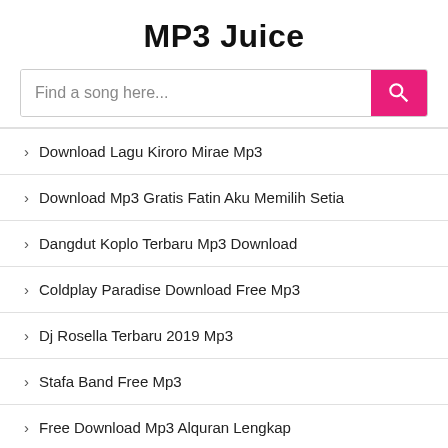MP3 Juice
Find a song here...
Download Lagu Kiroro Mirae Mp3
Download Mp3 Gratis Fatin Aku Memilih Setia
Dangdut Koplo Terbaru Mp3 Download
Coldplay Paradise Download Free Mp3
Dj Rosella Terbaru 2019 Mp3
Stafa Band Free Mp3
Free Download Mp3 Alquran Lengkap
Musik Mp3 Iwan Fals
Download Lagu Koplo Full Album Mp3
Download Lagu Ayu Ting Ting Yang Sudah Ya Sudahlah Mp3
Download Lagu Mp3 Faded Alan Walker
Download Mp3 Dewa 19